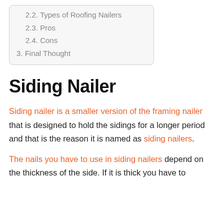2.2. Types of Roofing Nailers
2.3. Pros
2.4. Cons
3. Final Thought
Siding Nailer
Siding nailer is a smaller version of the framing nailer that is designed to hold the sidings for a longer period and that is the reason it is named as siding nailers.
The nails you have to use in siding nailers depend on the thickness of the side. If it is thick you have to